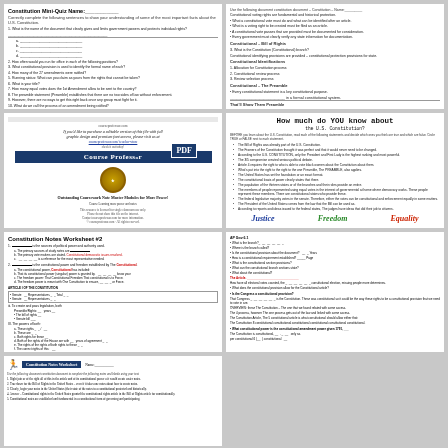[Figure (screenshot): Constitution worksheet page 1 - list of questions about the Constitution with blank lines for answers]
[Figure (screenshot): Constitution worksheet page 2 - continuation of questions about the U.S. Constitution amendments and provisions]
[Figure (screenshot): Course Professor PDF cover page with gold seal badge]
[Figure (screenshot): How much do YOU know about the U.S. Constitution - quiz worksheet with bullet points and Justice, Freedom, Equality words]
[Figure (screenshot): Constitution Notes Worksheet #2 with detailed notes and blanks]
[Figure (screenshot): Constitution worksheet with bullet points and blanks for student answers]
[Figure (screenshot): Constitution notes worksheet page with small figure icon at top]